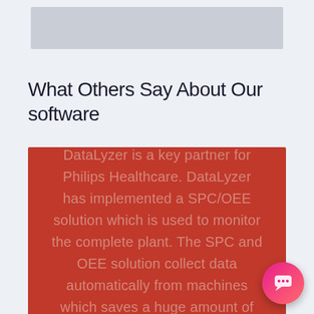[Figure (illustration): Gray banner image area at the top of the page]
What Others Say About Our software
DataLyzer is a key partner for Philips Healthcare. DataLyzer has implemented a SPC/OEE solution which is used to monitor the complete plant. The SPC and OEE solution collect data automatically from machines which saves a huge amount of time to